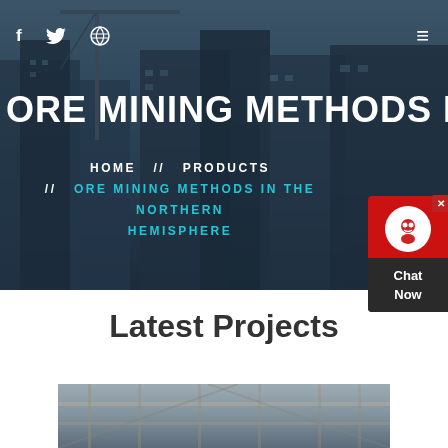[Figure (photo): Dark hero banner with city construction skyline background showing cranes and tall buildings under construction, with a dark blue-grey overlay.]
f  🐦  🏀  ☰
ORE MINING METHODS IN THE N
HOME  //  PRODUCTS  //  ORE MINING METHODS IN THE NORTHERN HEMISPHERE
Latest Projects
[Figure (photo): Industrial mining or construction facility interior photo showing machinery and structural beams.]